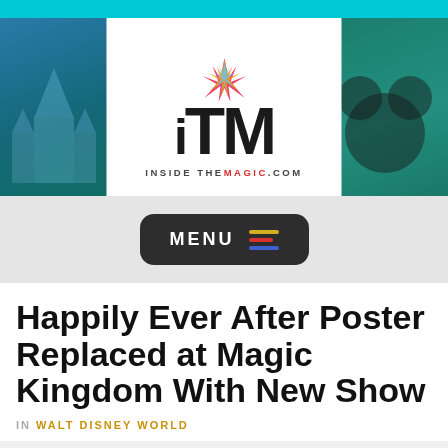[Figure (logo): Inside The Magic (ITM) website header banner with logo, background images of Cinderella Castle, Mario character, and Mickey Mouse on teal/green tinted background]
[Figure (other): Dark rounded rectangle MENU button with colorful hamburger icon lines (yellow, red, blue)]
Happily Ever After Poster Replaced at Magic Kingdom With New Show
IN WALT DISNEY WORLD